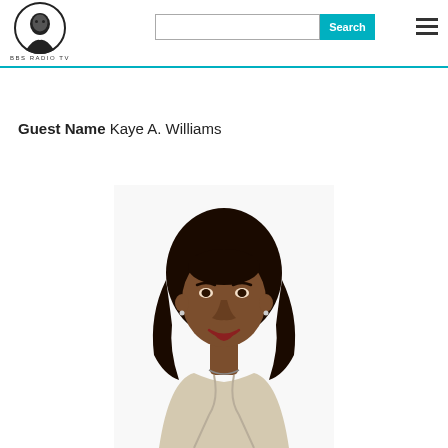BBS RADIO TV
Guest Name Kaye A. Williams
[Figure (photo): Professional headshot of Kaye A. Williams, a woman smiling, wearing a light-colored blazer, with shoulder-length hair, on a white background.]